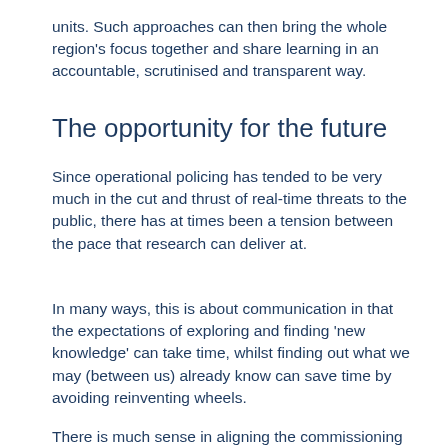units. Such approaches can then bring the whole region's focus together and share learning in an accountable, scrutinised and transparent way.
The opportunity for the future
Since operational policing has tended to be very much in the cut and thrust of real-time threats to the public, there has at times been a tension between the pace that research can deliver at.
In many ways, this is about communication in that the expectations of exploring and finding ‘new knowledge’ can take time, whilst finding out what we may (between us) already know can save time by avoiding reinventing wheels.
There is much sense in aligning the commissioning of future research with the forward looking Police